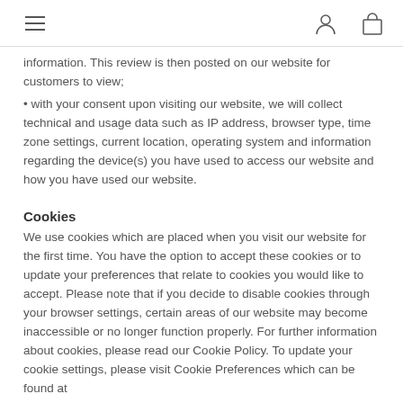navigation header with hamburger menu, user icon, and bag icon
information. This review is then posted on our website for customers to view;
• with your consent upon visiting our website, we will collect technical and usage data such as IP address, browser type, time zone settings, current location, operating system and information regarding the device(s) you have used to access our website and how you have used our website.
Cookies
We use cookies which are placed when you visit our website for the first time. You have the option to accept these cookies or to update your preferences that relate to cookies you would like to accept. Please note that if you decide to disable cookies through your browser settings, certain areas of our website may become inaccessible or no longer function properly. For further information about cookies, please read our Cookie Policy. To update your cookie settings, please visit Cookie Preferences which can be found at